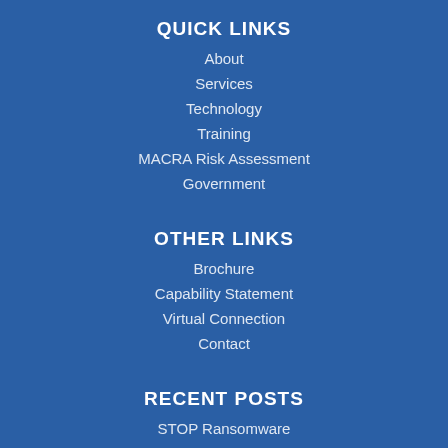QUICK LINKS
About
Services
Technology
Training
MACRA Risk Assessment
Government
OTHER LINKS
Brochure
Capability Statement
Virtual Connection
Contact
RECENT POSTS
STOP Ransomware
I can fix that